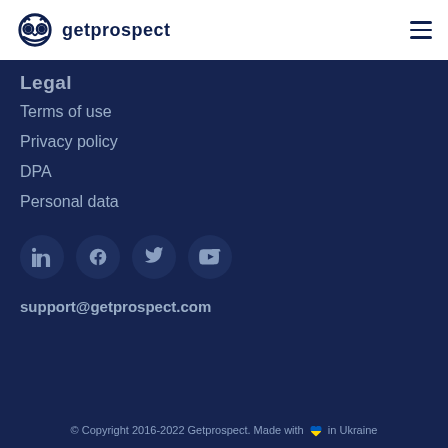getprospect
Legal
Terms of use
Privacy policy
DPA
Personal data
[Figure (infographic): Social media icons: LinkedIn, Facebook, Twitter, YouTube]
support@getprospect.com
© Copyright 2016-2022 Getprospect. Made with ❤ in Ukraine